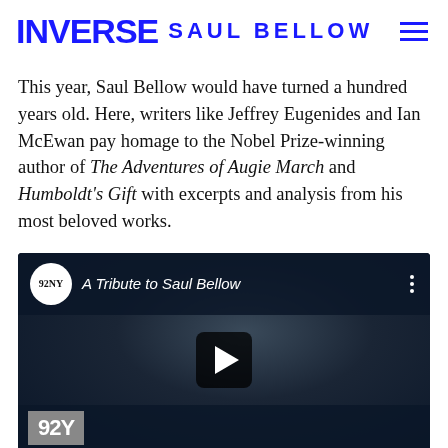INVERSE | SAUL BELLOW
This year, Saul Bellow would have turned a hundred years old. Here, writers like Jeffrey Eugenides and Ian McEwan pay homage to the Nobel Prize-winning author of The Adventures of Augie March and Humboldt's Gift with excerpts and analysis from his most beloved works.
[Figure (screenshot): YouTube video embed thumbnail showing '92NY - A Tribute to Saul Bellow' with a dark background featuring a man's face, a play button overlay, and the 92Y logo in the bottom left corner.]